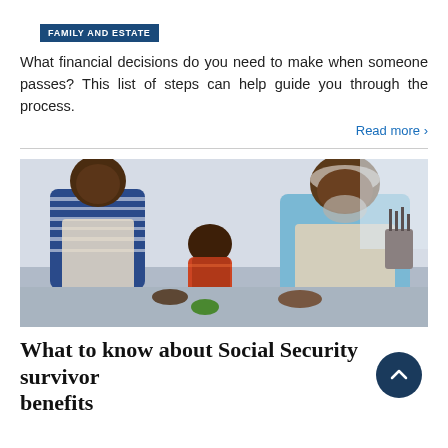FAMILY AND ESTATE
What financial decisions do you need to make when someone passes? This list of steps can help guide you through the process.
Read more ›
[Figure (photo): Three generations of men — a father, young son, and grandfather — all wearing aprons, smiling and working together in a kitchen.]
What to know about Social Security survivor benefits